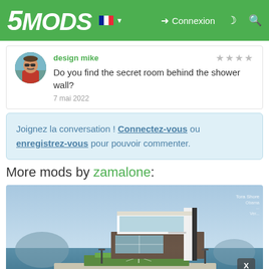5MODS | Connexion
design mike
Do you find the secret room behind the shower wall?
7 mai 2022
Joignez la conversation ! Connectez-vous ou enregistrez-vous pour pouvoir commenter.
More mods by zamalone:
[Figure (screenshot): Screenshot of a modern GTA5 house mod on water with helicopter pad, showing download count 1 146 and likes 19]